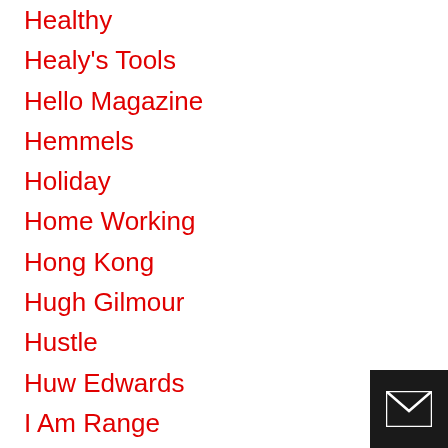Healthy
Healy's Tools
Hello Magazine
Hemmels
Holiday
Home Working
Hong Kong
Hugh Gilmour
Hustle
Huw Edwards
I Am Range
Ian Montgomery
Ice Cream
Illuminated Apparel
Inquirer.net
Inspiration
Inspirational
Inspire
[Figure (illustration): Dark square icon with a white envelope/mail symbol in the bottom-right corner of the page]